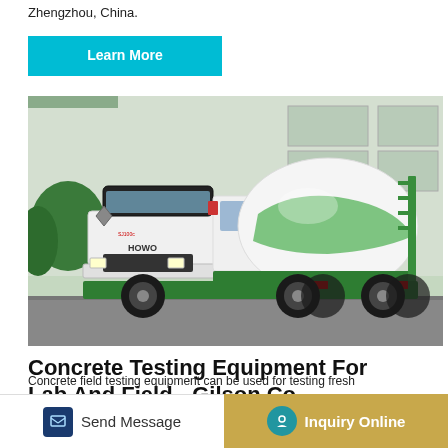Zhengzhou, China.
Learn More
[Figure (photo): A white and green concrete mixer truck (HOWO brand) parked in front of an industrial building. The truck has a large rotating drum painted white and green.]
Concrete Testing Equipment For Lab And Field - Gilson Co.
Send Message
Inquiry Online
Concrete field testing equipment can be used for testing fresh